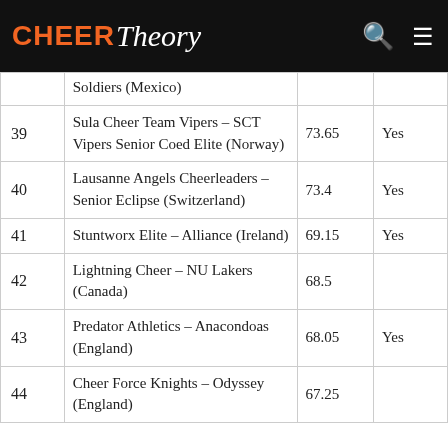CHEER Theory
| # | Team | Score | Qualified |
| --- | --- | --- | --- |
|  | Soldiers (Mexico) |  |  |
| 39 | Sula Cheer Team Vipers – SCT Vipers Senior Coed Elite (Norway) | 73.65 | Yes |
| 40 | Lausanne Angels Cheerleaders – Senior Eclipse (Switzerland) | 73.4 | Yes |
| 41 | Stuntworx Elite – Alliance (Ireland) | 69.15 | Yes |
| 42 | Lightning Cheer – NU Lakers (Canada) | 68.5 |  |
| 43 | Predator Athletics – Anacondoas (England) | 68.05 | Yes |
| 44 | Cheer Force Knights – Odyssey (England) | 67.25 |  |